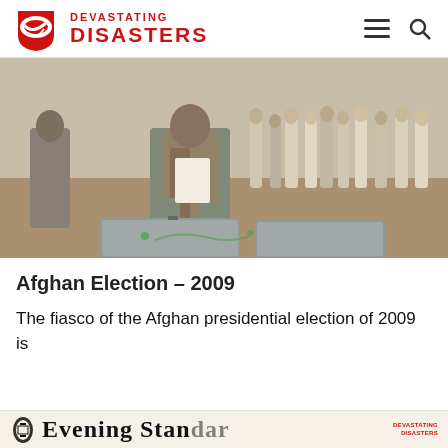[Figure (logo): Devastating Disasters logo with red tornado/shield icon and red bold text reading DEVASTATING DISASTERS]
[Figure (photo): A man in traditional Afghan clothing casting a vote at a ballot box, with a queue of people in background]
Afghan Election – 2009
The fiasco of the Afghan presidential election of 2009 is
[Figure (logo): Evening Standard newspaper logo with decorative emblem and serif typeface]